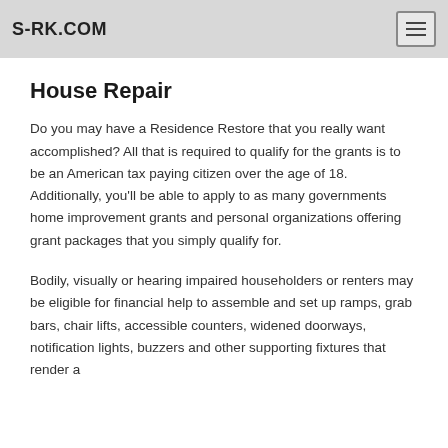S-RK.COM
House Repair
Do you may have a Residence Restore that you really want accomplished? All that is required to qualify for the grants is to be an American tax paying citizen over the age of 18. Additionally, you’ll be able to apply to as many governments home improvement grants and personal organizations offering grant packages that you simply qualify for.
Bodily, visually or hearing impaired householders or renters may be eligible for financial help to assemble and set up ramps, grab bars, chair lifts, accessible counters, widened doorways, notification lights, buzzers and other supporting fixtures that render a